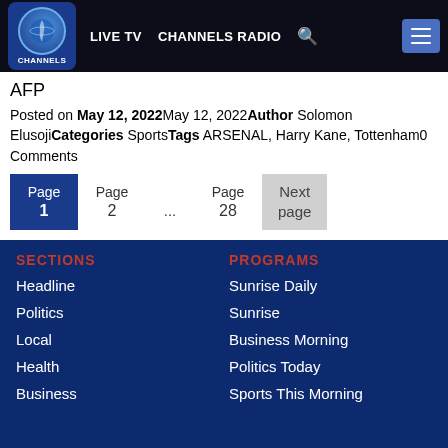LIVE TV  CHANNELS RADIO
AFP
Posted on May 12, 2022May 12, 2022Author Solomon ElusojiCategories SportsTags ARSENAL, Harry Kane, Tottenham0 Comments
Page 1  Page 2  ...  Page 28  Next page
SECTIONS
Headline
Politics
Local
Health
Business
PROGRAMS
Sunrise Daily
Sunrise
Business Morning
Politics Today
Sports This Morning